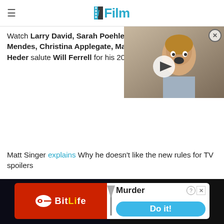/Film
[Figure (screenshot): Video thumbnail with a man with surprised expression and a play button overlay]
Watch Larry David, Sarah Poehler, Zach Galifianakis, Eva Mendes, Christina Applegate, Maya Rudolph, and Jon Heder salute Will Ferrell for his 2011 Mark Twain Prize.
Matt Singer explains Why he doesn't like the new rules for TV spoilers
[Figure (screenshot): Bottom advertisement banner: BitLife app ad with Murder Do it! call to action]